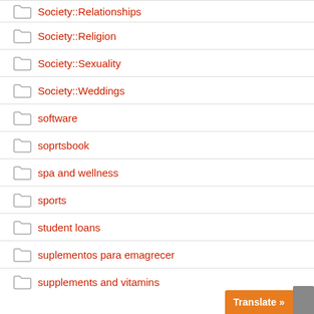Society::Relationships
Society::Religion
Society::Sexuality
Society::Weddings
software
soprtsbook
spa and wellness
sports
student loans
suplementos para emagrecer
supplements and vitamins